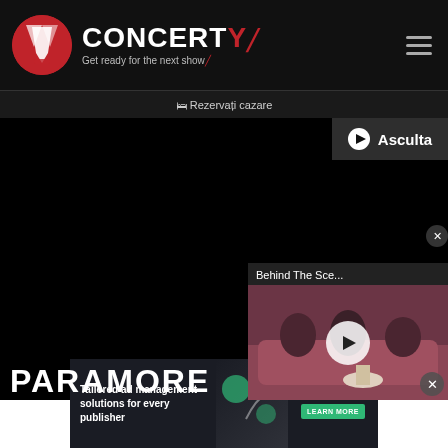[Figure (screenshot): Concerty website header with logo — red circle logo, CONCERTY brand name, tagline 'Get ready for the next show', hamburger menu icon on dark background]
🛏 Rezervați cazare
[Figure (screenshot): Black main content area with 'Asculta' play button top right, a video popup 'Behind The Sce...' with people on couch, PARAMORE text at bottom]
[Figure (screenshot): Advertisement banner: 'Tailored ad management solutions for every publisher' with FreeSTar logo and LEARN MORE button]